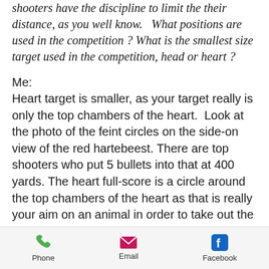shooters have the discipline to limit the their distance, as you well know.   What positions are used in the competition ? What is the smallest size target used in the competition, head or heart ?
Me:
Heart target is smaller, as your target really is only the top chambers of the heart.  Look at the photo of the feint circles on the side-on view of the red hartebeest. There are top shooters who put 5 bullets into that at 400 yards. The heart full-score is a circle around the top chambers of the heart as that is really your aim on an animal in order to take out the pulsating nodes and main arteries. You want to stop oxygen to the brain immediately as that is the quickest kill apart from a brain shot and is what
Phone  Email  Facebook